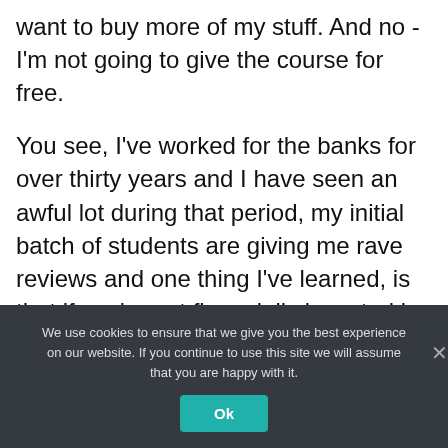want to buy more of my stuff. And no - I'm not going to give the course for free.
You see, I've worked for the banks for over thirty years and I have seen an awful lot during that period, my initial batch of students are giving me rave reviews and one thing I've learned, is that if you're not financially invested in something, then you won't apply it.
Now its your time. By now, you know...
We use cookies to ensure that we give you the best experience on our website. If you continue to use this site we will assume that you are happy with it.